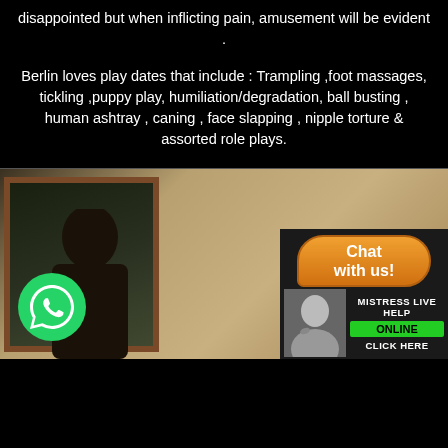disappointed but when inflicting pain, amusement will be evident .
Berlin loves play dates that include : Trampling ,foot massages, tickling ,puppy play, humiliation/degradation, ball busting , human ashtray , caning , face slapping , nipple torture & assorted role plays.
[Figure (photo): Photo of a person with dark hair seen from behind, reflected in a mirror with a dark wood frame, with a WhatsApp icon badge in the lower left and a 'Chat with us! Mistress Live Help Online Click Here' widget in the lower right corner.]